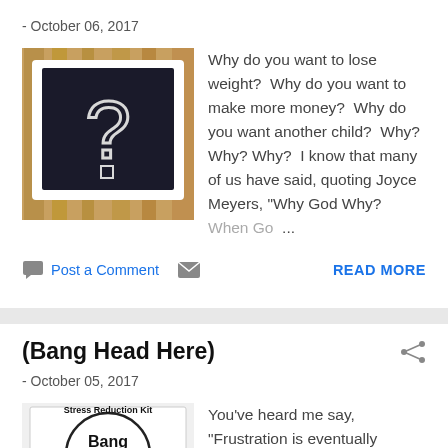- October 06, 2017
[Figure (photo): A chalkboard with a question mark drawn on it, framed in white, on a wooden surface.]
Why do you want to lose weight?  Why do you want to make more money?  Why do you want another child?  Why? Why? Why?  I know that many of us have said, quoting Joyce Meyers, "Why God Why?  When Go ...
Post a Comment  READ MORE
(Bang Head Here)
- October 05, 2017
[Figure (photo): A circular stress reduction kit image showing text 'Bang Head Here' on a book or card.]
You've heard me say, "Frustration is eventually productive."  You've also heard me say, "It's all about the journey, not the